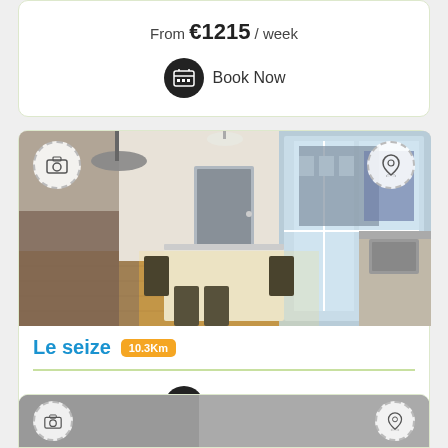From €1215 / week
Book Now
[Figure (photo): Interior photo of a French apartment showing a dining table with chairs, pendant light, windows with city view, kitchen counter with sink]
Le seize 10.3Km
Book Now
[Figure (photo): Partially visible photo at bottom of page, appears to be another apartment listing]